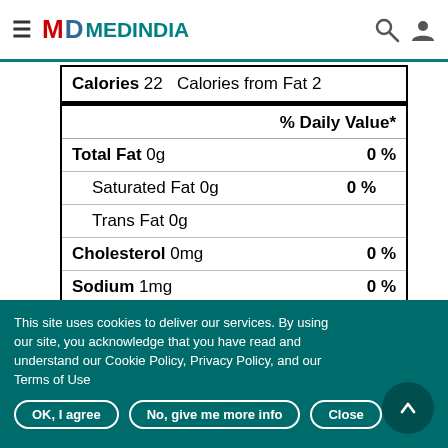≡ MD MEDINDIA
| Calories 22  Calories from Fat 2 |  |
| % Daily Value* |  |
| Total Fat 0g | 0 % |
| Saturated Fat 0g | 0 % |
| Trans Fat 0g |  |
| Cholesterol 0mg | 0 % |
| Sodium 1mg | 0 % |
| Total Carbohydrate 7g | 2 % |
This site uses cookies to deliver our services. By using our site, you acknowledge that you have read and understand our Cookie Policy, Privacy Policy, and our Terms of Use
OK, I agree   No, give me more info   Close